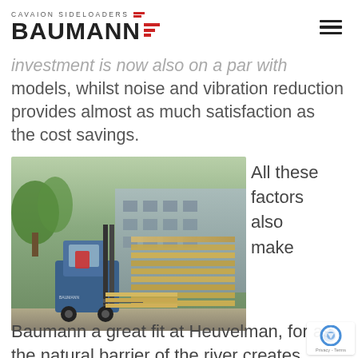CAVAION SIDELOADERS BAUMANN
investment is now also on a par with models, whilst noise and vibration reduction provides almost as much satisfaction as the cost savings.
[Figure (photo): A Baumann sideloader forklift handling stacks of lumber/timber boards in an outdoor yard near a building.]
All these factors also make
Baumann a great fit at Heuvelman, for as the natural barrier of the river creates